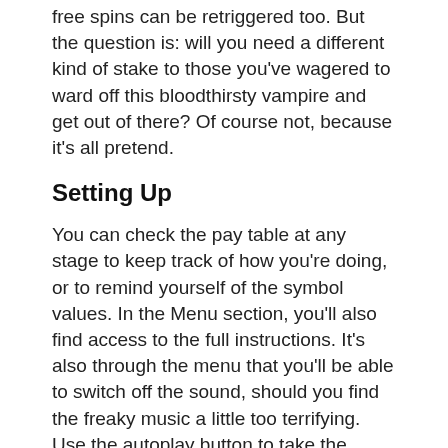free spins can be retriggered too. But the question is: will you need a different kind of stake to those you've wagered to ward off this bloodthirsty vampire and get out of there? Of course not, because it's all pretend.
Setting Up
You can check the pay table at any stage to keep track of how you're doing, or to remind yourself of the symbol values. In the Menu section, you'll also find access to the full instructions. It's also through the menu that you'll be able to switch off the sound, should you find the freaky music a little too terrifying. Use the autoplay button to take the weight off your finger if you need a break from constant spinning. Alternatively, you could go for the old-fashioned manual method to ensure you don't miss a thing (especially if you're inclined to want to adapt your wager regularly).
More Bloodsucking Slots